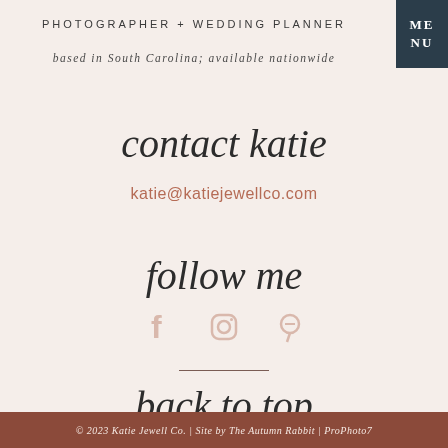PHOTOGRAPHER + WEDDING PLANNER
based in South Carolina; available nationwide
contact katie
katie@katiejewellco.com
follow me
[Figure (infographic): Social media icons: Facebook (f), Instagram (camera), Pinterest (p)]
back to top
© 2023 Katie Jewell Co. | Site by The Autumn Rabbit | ProPhoto7